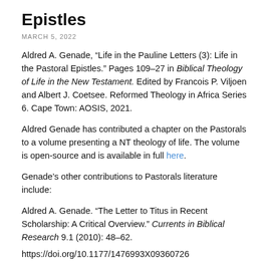Epistles
MARCH 5, 2022
Aldred A. Genade, “Life in the Pauline Letters (3): Life in the Pastoral Epistles.” Pages 109–27 in Biblical Theology of Life in the New Testament. Edited by Francois P. Viljoen and Albert J. Coetsee. Reformed Theology in Africa Series 6. Cape Town: AOSIS, 2021.
Aldred Genade has contributed a chapter on the Pastorals to a volume presenting a NT theology of life. The volume is open-source and is available in full here.
Genade’s other contributions to Pastorals literature include:
Aldred A. Genade. “The Letter to Titus in Recent Scholarship: A Critical Overview.” Currents in Biblical Research 9.1 (2010): 48–62.
https://doi.org/10.1177/1476993X09360726